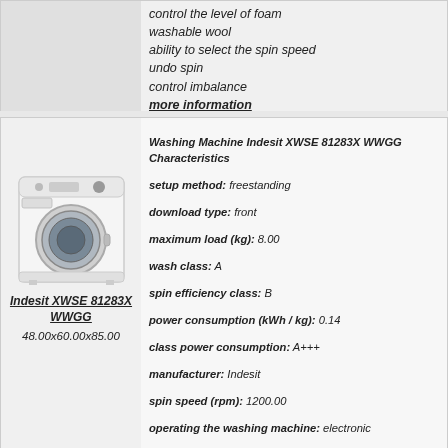control the level of foam
washable wool
ability to select the spin speed
undo spin
control imbalance
more information
Washing Machine Indesit XWSE 81283X WWGG Characteristics
setup method: freestanding
download type: front
maximum load (kg): 8.00
wash class: A
spin efficiency class: B
power consumption (kWh / kg): 0.14
class power consumption: A+++
manufacturer: Indesit
spin speed (rpm): 1200.00
operating the washing machine: electronic
display: yes
number of programs: 16
special washing programs: prewash, express laundry, economical laundry, washing sports shoes, wash sportswear, wash delicate fabrics, program remove stains
color washing machine: white
width (cm): 60.00
depth (cm): 48.00
height (cm): 85.00
additionally: choice of washing temperature
noise level during washing (dB): 54.00
[Figure (photo): Photo of Indesit XWSE 81283X WWGG front-loading washing machine, white color]
Indesit XWSE 81283X WWGG
48.00x60.00x85.00